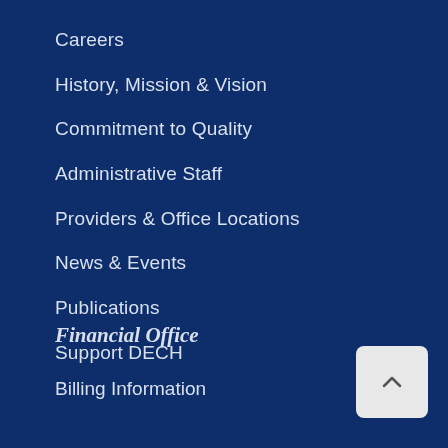Careers
History, Mission & Vision
Commitment to Quality
Administrative Staff
Providers & Office Locations
News & Events
Publications
Support DECH
Financial Office
Billing Information